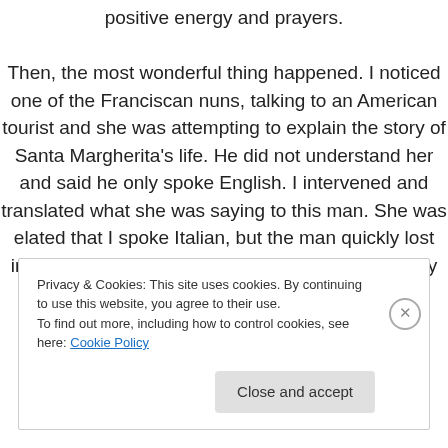positive energy and prayers.

Then, the most wonderful thing happened. I noticed one of the Franciscan nuns, talking to an American tourist and she was attempting to explain the story of Santa Margherita's life. He did not understand her and said he only spoke English. I intervened and translated what she was saying to this man. She was elated that I spoke Italian, but the man quickly lost interest and wandered off. I told her that I was very interested, would she please tell me the story?
Privacy & Cookies: This site uses cookies. By continuing to use this website, you agree to their use.
To find out more, including how to control cookies, see here: Cookie Policy